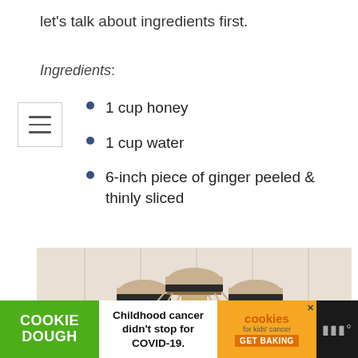let's talk about ingredients first.
Ingredients:
1 cup honey
1 cup water
6-inch piece of ginger peeled & thinly sliced
[Figure (photo): Three glass bottles topped with burlap fabric secured with black bands, containing a golden liquid (ginger syrup), with ginger root visible in the foreground, set against a light wooden background.]
COOKIE DOUGH  Childhood cancer didn't stop for COVID-19.  cookies for kids' cancer  GET BAKING